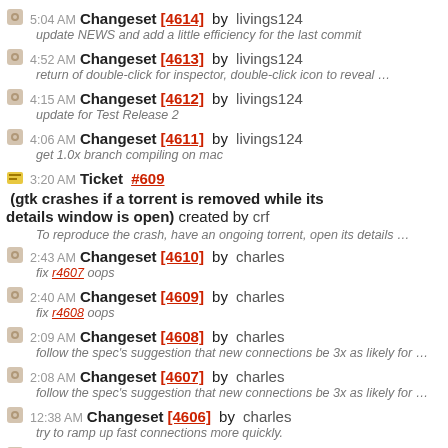5:04 AM Changeset [4614] by livings124 — update NEWS and add a little efficiency for the last commit
4:52 AM Changeset [4613] by livings124 — return of double-click for inspector, double-click icon to reveal …
4:15 AM Changeset [4612] by livings124 — update for Test Release 2
4:06 AM Changeset [4611] by livings124 — get 1.0x branch compiling on mac
3:20 AM Ticket #609 (gtk crashes if a torrent is removed while its details window is open) created by crf — To reproduce the crash, have an ongoing torrent, open its details …
2:43 AM Changeset [4610] by charles — fix r4607 oops
2:40 AM Changeset [4609] by charles — fix r4608 oops
2:09 AM Changeset [4608] by charles — follow the spec's suggestion that new connections be 3x as likely for …
2:08 AM Changeset [4607] by charles — follow the spec's suggestion that new connections be 3x as likely for …
12:38 AM Changeset [4606] by charles — try to ramp up fast connections more quickly.
Changeset [4605] by charles (partial, cut off)